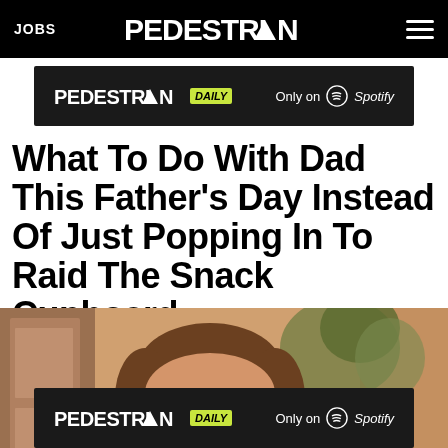JOBS | PEDESTRIAN | (hamburger menu)
[Figure (screenshot): Pedestrian Daily podcast banner ad — 'PEDESTRIAN DAILY Only on Spotify']
What To Do With Dad This Father's Day Instead Of Just Popping In To Raid The Snack Cupboard
[Figure (photo): Smiling man with brown hair indoors, warm toned photo]
[Figure (screenshot): Pedestrian Daily podcast banner ad — 'PEDESTRIAN DAILY Only on Spotify']